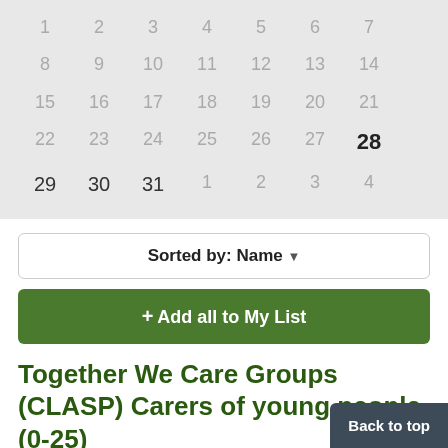[Figure (other): Calendar grid showing dates 1-31. Dates 1-27 are grayed out, date 28 is highlighted/active dark, and dates 29, 30, 31 are active. Dates 1, 2, 3, 4 in last row are grayed out (next month).]
Sorted by: Name ▼
+ Add all to My List
Together We Care Groups (CLASP) Carers of young people (0-25)
Are you looking after a child or young person (aged 0-25 years) with special educational needs...
Back to top